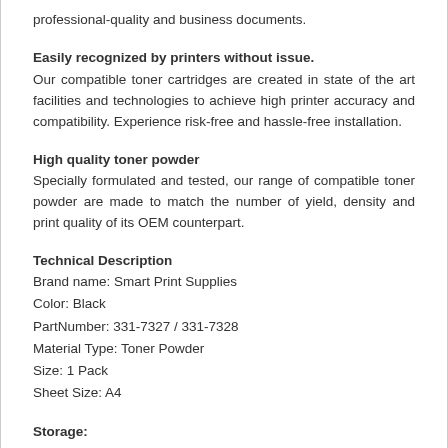professional-quality and business documents.
Easily recognized by printers without issue.
Our compatible toner cartridges are created in state of the art facilities and technologies to achieve high printer accuracy and compatibility. Experience risk-free and hassle-free installation.
High quality toner powder
Specially formulated and tested, our range of compatible toner powder are made to match the number of yield, density and print quality of its OEM counterpart.
Technical Description
Brand name: Smart Print Supplies
Color: Black
PartNumber: 331-7327 / 331-7328
Material Type: Toner Powder
Size: 1 Pack
Sheet Size: A4
Storage:
The toner cartridge must be securely packed and boxed. It should not be exposed to direct sunlight or extreme temperatures.